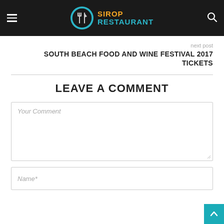SIROP RESTAURANT
next post
SOUTH BEACH FOOD AND WINE FESTIVAL 2017 TICKETS
LEAVE A COMMENT
Your Comment
Name*